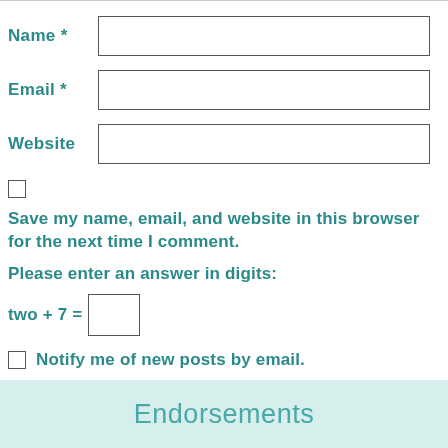Name *
Email *
Website
Save my name, email, and website in this browser for the next time I comment.
Please enter an answer in digits:
two + 7 =
Notify me of new posts by email.
Post Comment
Endorsements